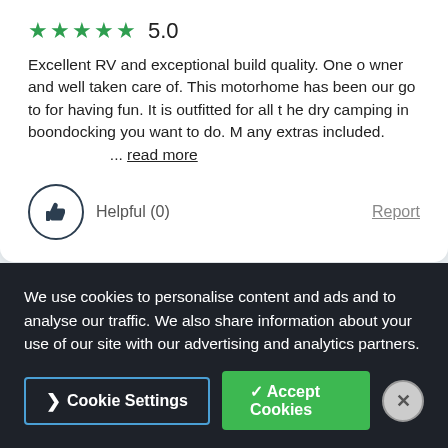[Figure (other): Five green star icons rating display]
5.0
Excellent RV and exceptional build quality. One owner and well taken care of. This motorhome has been our go to for having fun. It is outfitted for all the dry camping in boondocking you want to do. Many extras included. ... read more
Helpful (0)
Report
1 - 10 of 770 reviews
We use cookies to personalise content and ads and to analyse our traffic. We also share information about your use of our site with our advertising and analytics partners.
Cookie Settings
✓ Accept Cookies